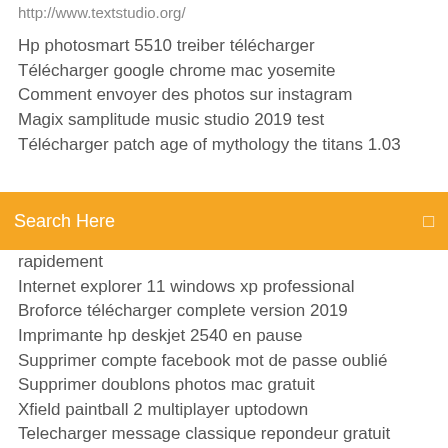http://www.textstudio.org/
Hp photosmart 5510 treiber télécharger
Télécharger google chrome mac yosemite
Comment envoyer des photos sur instagram
Magix samplitude music studio 2019 test
Télécharger patch age of mythology the titans 1.03
[Figure (screenshot): Search bar with orange background and text 'Search Here']
rapidement
Internet explorer 11 windows xp professional
Broforce télécharger complete version 2019
Imprimante hp deskjet 2540 en pause
Supprimer compte facebook mot de passe oublié
Supprimer doublons photos mac gratuit
Xfield paintball 2 multiplayer uptodown
Telecharger message classique repondeur gratuit
Transformer une image en icone
Pdf split and merge gratuit télécharger complete version for windows 10